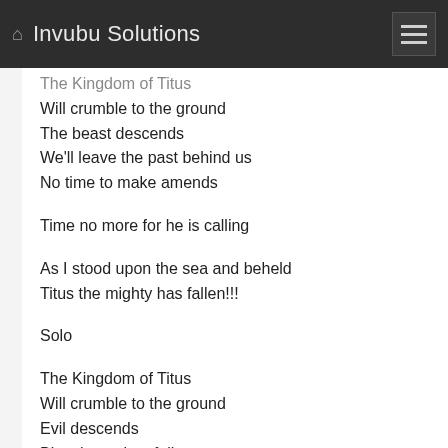Invubu Solutions
The Kingdom of Titus
Will crumble to the ground
The beast descends
We'll leave the past behind us
No time to make amends
Time no more for he is calling
As I stood upon the sea and beheld
Titus the mighty has fallen!!!
Solo
The Kingdom of Titus
Will crumble to the ground
Evil descends
Blasphemy has fallen
No mercy for their sins